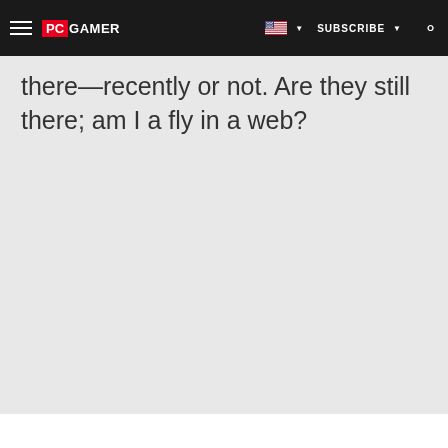PC GAMER | SUBSCRIBE
there—recently or not. Are they still there; am I a fly in a web?